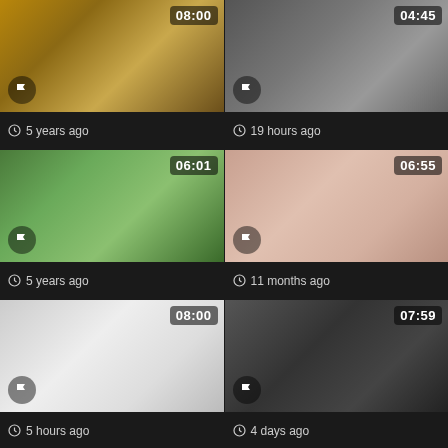[Figure (screenshot): Video thumbnail grid cell 1 with duration 08:00]
5 years ago
[Figure (screenshot): Video thumbnail grid cell 2 with duration 04:45]
19 hours ago
[Figure (screenshot): Video thumbnail grid cell 3 with duration 06:01]
5 years ago
[Figure (screenshot): Video thumbnail grid cell 4 with duration 06:55]
11 months ago
[Figure (screenshot): Video thumbnail grid cell 5 with duration 08:00]
5 hours ago
[Figure (screenshot): Video thumbnail grid cell 6 with duration 07:59]
4 days ago